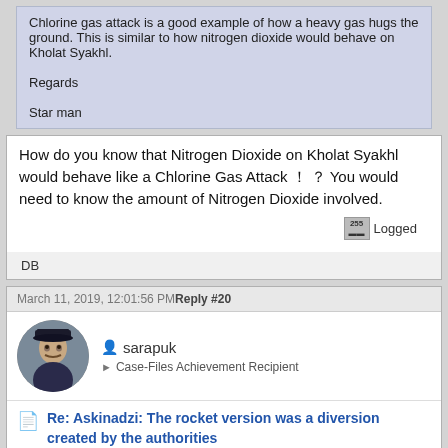Chlorine gas attack is a good example of how a heavy gas hugs the ground. This is similar to how nitrogen dioxide would behave on Kholat Syakhl.

Regards

Star man
How do you know that Nitrogen Dioxide on Kholat Syakhl would behave like a Chlorine Gas Attack ! ? You would need to know the amount of Nitrogen Dioxide involved.
Logged
DB
March 11, 2019, 12:01:56 PM
Reply #20
sarapuk
Case-Files Achievement Recipient
Re: Askinadzi: The rocket version was a diversion created by the authorities
Quote from: Star man on March 11, 2019, 05:28:19 AM